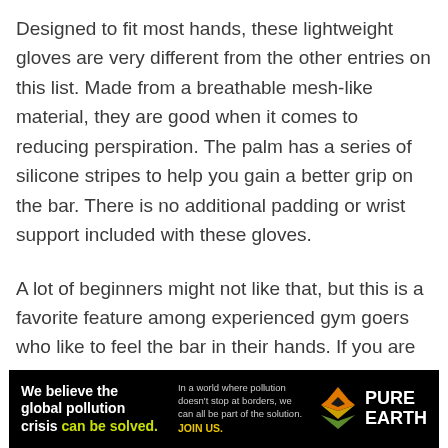Designed to fit most hands, these lightweight gloves are very different from the other entries on this list. Made from a breathable mesh-like material, they are good when it comes to reducing perspiration. The palm has a series of silicone stripes to help you gain a better grip on the bar. There is no additional padding or wrist support included with these gloves.
A lot of beginners might not like that, but this is a favorite feature among experienced gym goers who like to feel the bar in their hands. If you are looking for nothing more than improving your grip and protecting your hand from calluses, this is the perfect pair to get for yourself.
[Figure (other): Advertisement banner for Pure Earth. Left side: bold white text 'We believe the global pollution crisis can be solved.' with 'can be solved.' in yellow-green. Middle: small white text 'In a world where pollution doesn't stop at borders, we can all be part of the solution. JOIN US.' with JOIN US in yellow. Right side: Pure Earth logo (diamond/triangle shape in orange/yellow/green) and PURE EARTH in white bold text.]